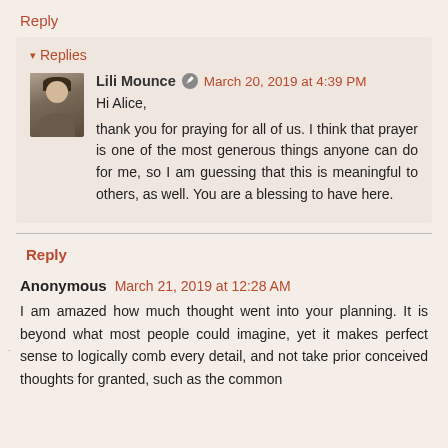Reply
▾ Replies
Lili Mounce ✏ March 20, 2019 at 4:39 PM
Hi Alice,
thank you for praying for all of us. I think that prayer is one of the most generous things anyone can do for me, so I am guessing that this is meaningful to others, as well. You are a blessing to have here.
Reply
Anonymous March 21, 2019 at 12:28 AM
I am amazed how much thought went into your planning. It is beyond what most people could imagine, yet it makes perfect sense to logically comb every detail, and not take prior conceived thoughts for granted, such as the common